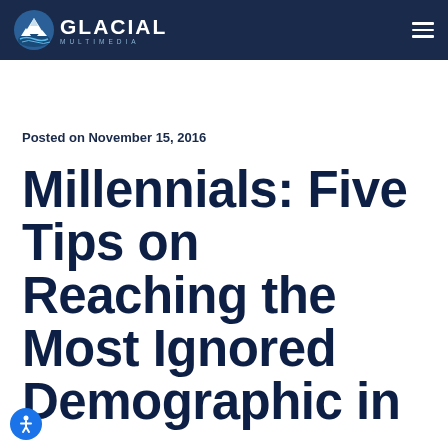Glacial Multimedia
Posted on November 15, 2016
Millennials: Five Tips on Reaching the Most Ignored Demographic in